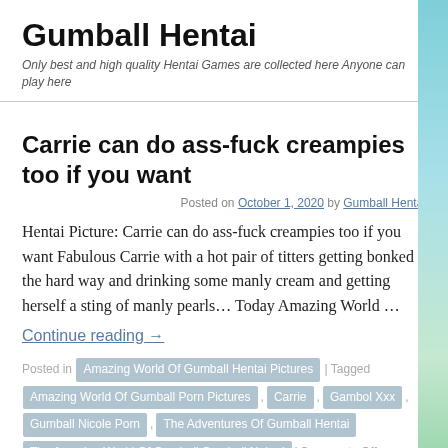Gumball Hentai
Only best and high quality Hentai Games are collected here Anyone can play here
Carrie can do ass-fuck creampies too if you want
Posted on October 1, 2020 by Gumball Hentai
Hentai Picture: Carrie can do ass-fuck creampies too if you want Fabulous Carrie with a hot pair of titters getting bonked the hard way and drinking some manly cream and getting herself a sting of manly pearls… Today Amazing World …
Continue reading →
Posted in Amazing World Of Gumball Hentai Pictures | Tagged Amazing World Of Gumball Porn Pictures , Carrie , Gambol Xxx , Gumball Nicole Porn , The Adventures Of Gumball Hentai , The Amazing World Of Gumball Gumball Naked | Comments Off
The fastest way to make Nicole